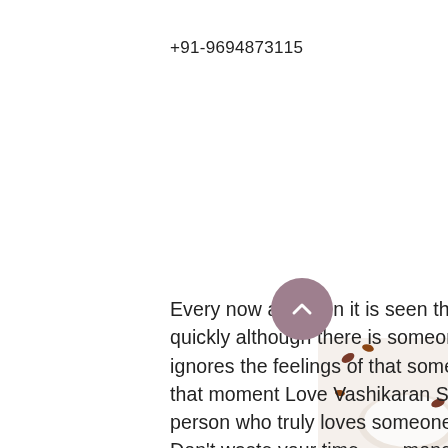+91-9694873115
Every now and then it is seen that someone gets attracted to someone very quickly although there is someone who madly loves that person. The person ignores the feelings of that someone and gets attracted to the other person. At that moment Love Vashikaran Specialist Baba Ji will be the last choice for that person who truly loves someone and want him/her to understand his/her feelings. Don't waste your time money to find the best solution for love vashikaran because we are here and helping a number of individuals every year with our quality love vashikaran services delivered by our expert astrologers in India. Contact us